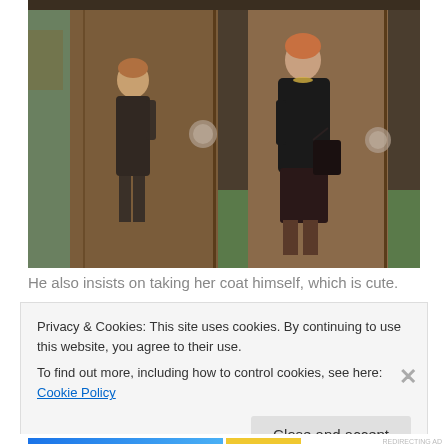[Figure (screenshot): A still from a vintage TV show. A boy in a dark suit stands facing a woman in a black coat and dress who is holding a handbag, standing in a wood-paneled hallway or office.]
He also insists on taking her coat himself, which is cute.
Privacy & Cookies: This site uses cookies. By continuing to use this website, you agree to their use.
To find out more, including how to control cookies, see here: Cookie Policy
Close and accept